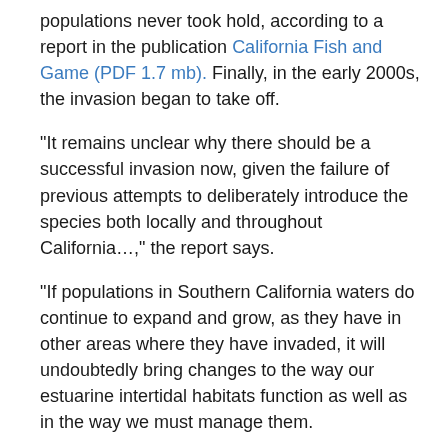populations never took hold, according to a report in the publication California Fish and Game (PDF 1.7 mb). Finally, in the early 2000s, the invasion began to take off.
“It remains unclear why there should be a successful invasion now, given the failure of previous attempts to deliberately introduce the species both locally and throughout California…,” the report says.
“If populations in Southern California waters do continue to expand and grow, as they have in other areas where they have invaded, it will undoubtedly bring changes to the way our estuarine intertidal habitats function as well as in the way we must manage them.
“Because Pacific
[Figure (photo): A brownish-tan photo or image, partially visible at the bottom right of the page, showing a blurred or textured surface in brown and tan tones.]